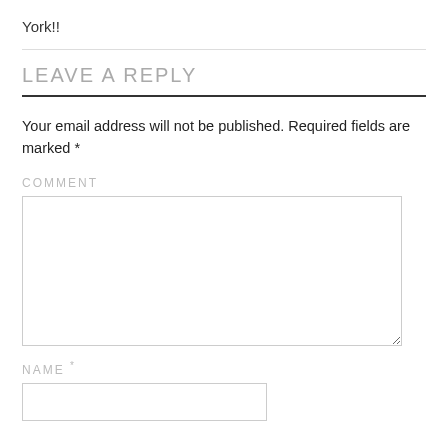York!!
LEAVE A REPLY
Your email address will not be published. Required fields are marked *
COMMENT
NAME *